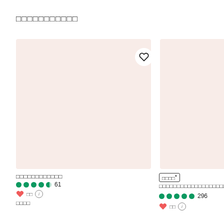□□□□□□□□□□□
[Figure (photo): Product card placeholder image (pink/beige background) with heart/wishlist button, left card]
[Figure (photo): Product card placeholder image (pink/beige background), right card, partially visible]
□□□□□□□□□□□□
61
□□
□□□□
□□□□*
□□□□□□□□□□□□□□□□□□□□
296
□□